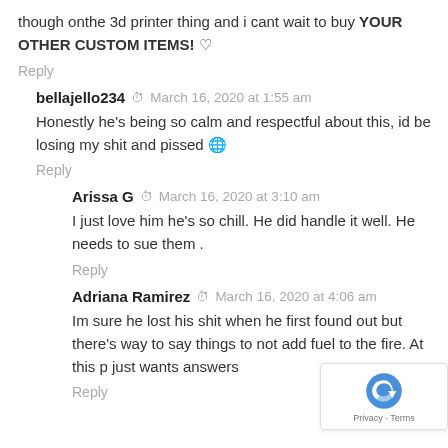though onthe 3d printer thing and i cant wait to buy YOUR OTHER CUSTOM ITEMS! ♡
Reply
bellajello234  ⏱  March 16, 2020 at 1:55 am
Honestly he's being so calm and respectful about this, id be losing my shit and pissed 🌐
Reply
Arissa G  ⏱  March 16, 2020 at 3:10 am
I just love him he's so chill. He did handle it well. He needs to sue them .
Reply
Adriana Ramirez  ⏱  March 16, 2020 at 4:06 am
Im sure he lost his shit when he first found out but there's way to say things to not add fuel to the fire. At this p just wants answers
Reply